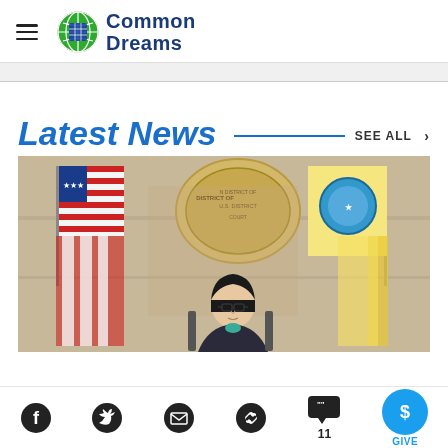Common Dreams
Latest News
SEE ALL >
[Figure (illustration): Courtroom sketch showing a figure with glasses in front of flags and a district court seal]
Facebook, Twitter, Email, Link, Comments (11), GIVE